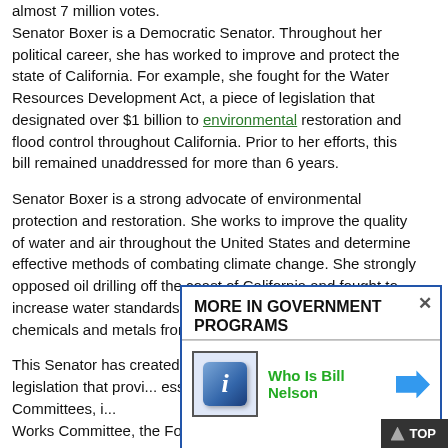almost 7 million votes. Senator Boxer is a Democratic Senator. Throughout her political career, she has worked to improve and protect the state of California. For example, she fought for the Water Resources Development Act, a piece of legislation that designated over $1 billion to environmental restoration and flood control throughout California. Prior to her efforts, this bill remained unaddressed for more than 6 years.
Senator Boxer is a strong advocate of environmental protection and restoration. She works to improve the quality of water and air throughout the United States and determine effective methods of combating climate change. She strongly opposed oil drilling off the coast of California and fought to increase water standards and the remove dangerous chemicals and metals from drinking water supplies.
This Senator has created laws that protect the wild... and legislation that provi... essential federal funding... of Senate Committees, i... Works Committee, the Foreign Relations Committee, t...
MORE IN GOVERNMENT PROGRAMS
[Figure (other): Ad box overlay with info icon and link 'Who Is Bill Nelson' with blue arrow]